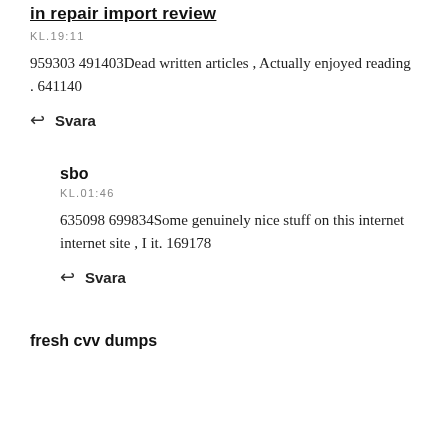in repair import review
KL.19:11
959303 491403Dead written articles , Actually enjoyed reading . 641140
↩ Svara
sbo
KL.01:46
635098 699834Some genuinely nice stuff on this internet internet site , I it. 169178
↩ Svara
fresh cvv dumps